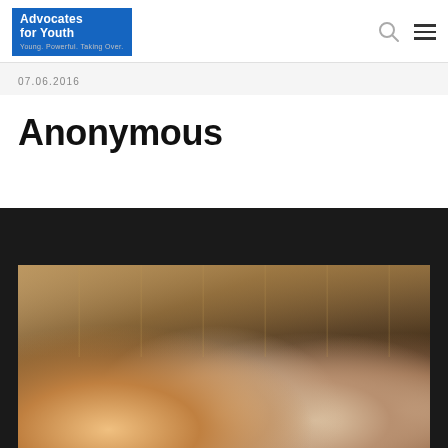[Figure (logo): Advocates for Youth logo — blue box with white bold text 'Advocates for Youth', tagline 'Young. Powerful. Taking Over.']
07.06.2016
Anonymous
[Figure (photo): Group of young women smiling in an indoor setting with warm ambient lighting, appearing to be at an event or conference.]